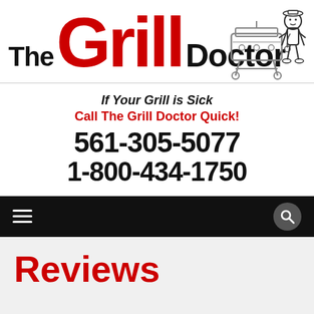[Figure (logo): The Grill Doctor logo with red 'Grill' text, black 'The' and 'Doctor' text, and a cartoon doctor standing next to a BBQ grill illustration]
If Your Grill is Sick
Call The Grill Doctor Quick!
561-305-5077
1-800-434-1750
[Figure (other): Black navigation bar with hamburger menu icon on left and search icon on right]
Reviews